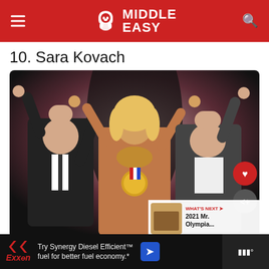Middle Easy
10. Sara Kovach
[Figure (photo): Sara Kovach on stage after winning a bodybuilding competition, wearing a sparkling bikini and a large gold medal with a red-white-blue ribbon, arms raised and hands held by two men in dark suits flanking her. A 'What's Next' overlay in the bottom right corner shows a thumbnail for '2021 Mr. Olympia...']
WHAT'S NEXT → 2021 Mr. Olympia...
Try Synergy Diesel Efficient™ fuel for better fuel economy.*